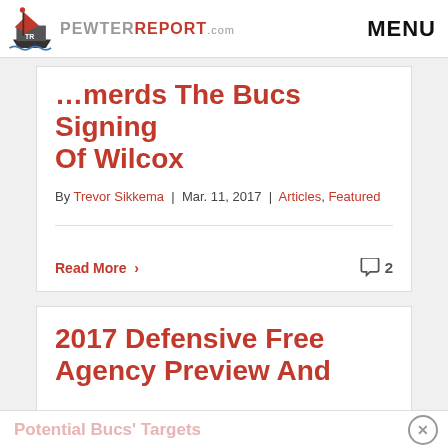PewterReport.com | MENU
...merds The Bucs Signing Of Wilcox
By Trevor Sikkema | Mar. 11, 2017 | Articles, Featured
Read More > 2
2017 Defensive Free Agency Preview And
Potential Bucs' Targets